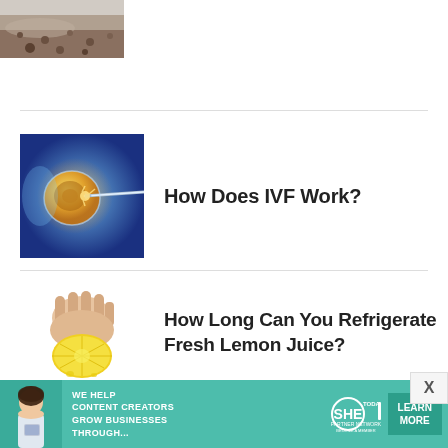[Figure (photo): Partial top image of dirt or soil, cropped]
[Figure (photo): IVF medical illustration showing fertilization with needle and glowing egg cell on blue background]
How Does IVF Work?
[Figure (photo): Hand squeezing a lemon half on white background]
How Long Can You Refrigerate Fresh Lemon Juice?
[Figure (infographic): SHE Media Partner Network advertisement banner with woman, text 'We help content creators grow businesses through...' and Learn More button]